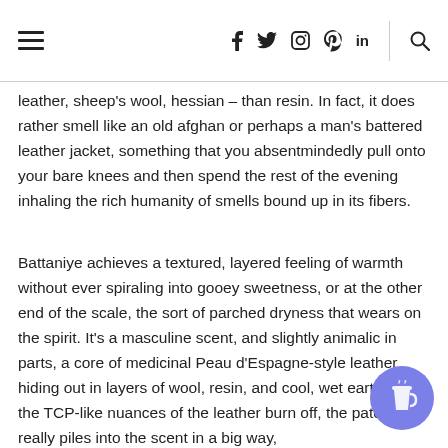≡  f  t  ☐  ⊕  in  |  🔍
leather, sheep's wool, hessian – than resin. In fact, it does rather smell like an old afghan or perhaps a man's battered leather jacket, something that you absentmindedly pull onto your bare knees and then spend the rest of the evening inhaling the rich humanity of smells bound up in its fibers.
Battaniye achieves a textured, layered feeling of warmth without ever spiraling into gooey sweetness, or at the other end of the scale, the sort of parched dryness that wears on the spirit. It's a masculine scent, and slightly animalic in parts, a core of medicinal Peau d'Espagne-style leather hiding out in layers of wool, resin, and cool, wet earth. Once the TCP-like nuances of the leather burn off, the patchouli really piles into the scent in a big way,